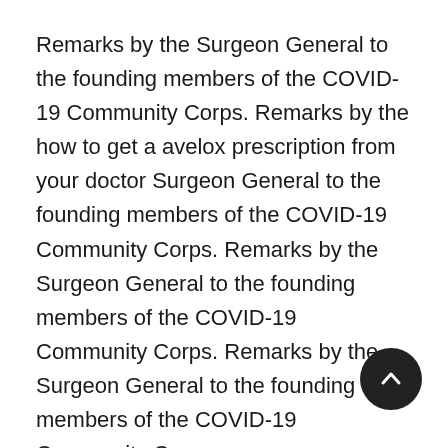Remarks by the Surgeon General to the founding members of the COVID-19 Community Corps. Remarks by the how to get a avelox prescription from your doctor Surgeon General to the founding members of the COVID-19 Community Corps. Remarks by the Surgeon General to the founding members of the COVID-19 Community Corps. Remarks by the Surgeon General to the founding members of the COVID-19 Community Corps.
Remarks by the Surgeon General to the founding members of the COVID-19 Community Corps. Remarks by the Surgeon General to the founding members how to get a avelox prescription from your doctor of the COVID-19 Community Corps. Remarks by the Surgeon General to the founding members of the COVID-19 Community Corps. Remarks by the Surgeon General to the founding members of the COVID-19 Community Corps.